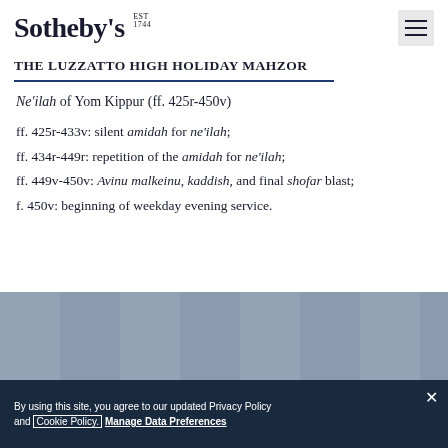Sotheby's EST 1744
THE LUZZATTO HIGH HOLIDAY MAHZOR
Ne'ilah of Yom Kippur (ff. 425r-450v)
ff. 425r-433v: silent amidah for ne'ilah;
ff. 434r-449r: repetition of the amidah for ne'ilah;
ff. 449v-450v: Avinu malkeinu, kaddish, and final shofar blast;
f. 450v: beginning of weekday evening service.
[Figure (photo): Gray decorative background image, partially visible at bottom of page]
By using this site, you agree to our updated Privacy Policy and Cookie Policy. Manage Data Preferences